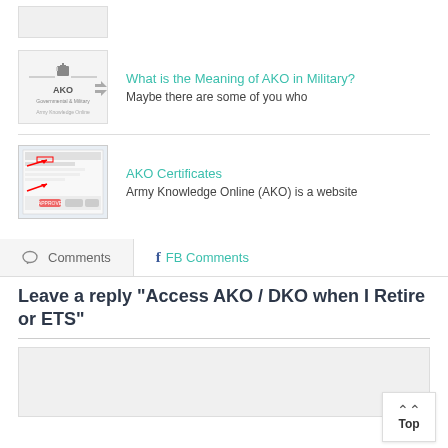[Figure (screenshot): Partial thumbnail image at top, clipped]
[Figure (screenshot): Thumbnail showing AKO Army Knowledge Online logo with building icon]
What is the Meaning of AKO in Military?
Maybe there are some of you who
[Figure (screenshot): Thumbnail showing AKO Certificates screenshot with red arrows]
AKO Certificates
Army Knowledge Online (AKO) is a website
Comments
FB Comments
Leave a reply "Access AKO / DKO when I Retire or ETS"